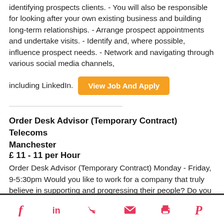identifying prospects clients. - You will also be responsible for looking after your own existing business and building long-term relationships. - Arrange prospect appointments and undertake visits. - Identify and, where possible, influence prospect needs. - Network and navigating through various social media channels, including LinkedIn.
View Job And Apply
Order Desk Advisor (Temporary Contract)
Telecoms
Manchester
£ 11 - 11 per Hour
Order Desk Advisor (Temporary Contract) Monday - Friday, 9-5:30pm Would you like to work for a company that truly believe in supporting and progressing their people? Do you like the idea of working for a company
Social share icons: Facebook, LinkedIn, Twitter, Email, Print, Pinterest